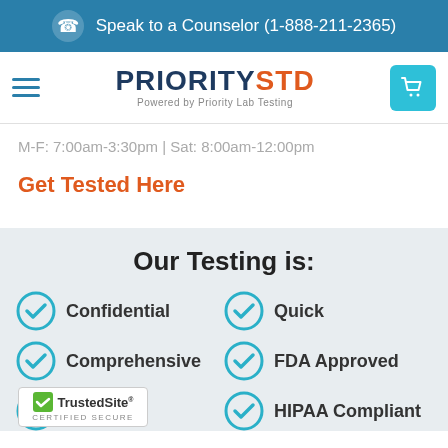Speak to a Counselor (1-888-211-2365)
[Figure (logo): PRIORITYSTD logo — Powered by Priority Lab Testing]
M-F: 7:00am-3:30pm | Sat: 8:00am-12:00pm
Get Tested Here
Our Testing is:
Confidential
Quick
Comprehensive
FDA Approved
ent (Convenient)
HIPAA Compliant
[Figure (logo): TrustedSite Certified Secure badge]